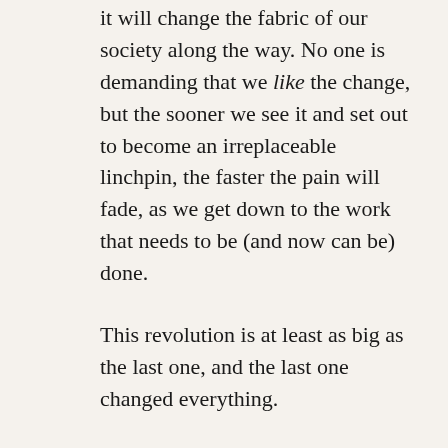it will change the fabric of our society along the way. No one is demanding that we like the change, but the sooner we see it and set out to become an irreplaceable linchpin, the faster the pain will fade, as we get down to the work that needs to be (and now can be) done.
This revolution is at least as big as the last one, and the last one changed everything.
This is more bad news for those without the privilege to play in the world of “gigs and assets and art and an ever-shifting series of partnerships and projects.”  But this massive paradigm shift is also a time that allows us to reclaim the impossible. Everything is up for grabs, and the sooner we can release our attachments to “the way things are,” and